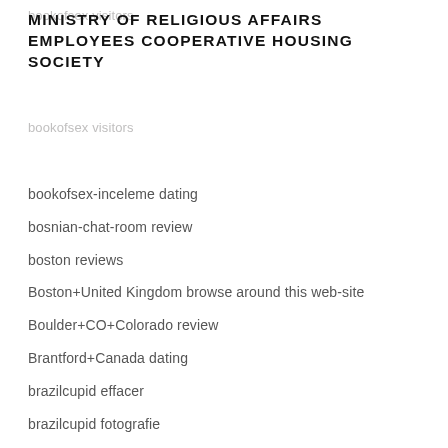MINISTRY OF RELIGIOUS AFFAIRS EMPLOYEES COOPERATIVE HOUSING SOCIETY
bookofsex-inceleme dating
bosnian-chat-room review
boston reviews
Boston+United Kingdom browse around this web-site
Boulder+CO+Colorado review
Brantford+Canada dating
brazilcupid effacer
brazilcupid fotografie
Brazilcupid rencontre fran?aise
brazilcupid visitors